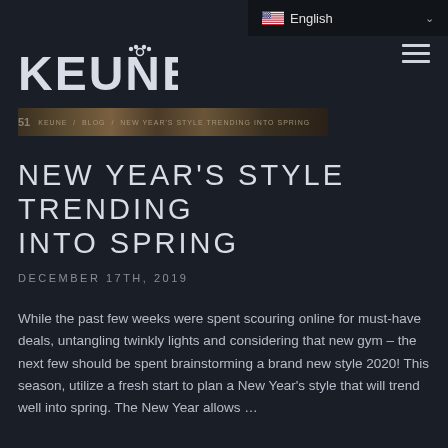English
[Figure (logo): Keune hair brand logo in white on dark background]
[Figure (photo): Decorative banner strip with textured brown/gold pattern, showing page number and article breadcrumb]
NEW YEAR'S STYLE TRENDING INTO SPRING
DECEMBER 17TH, 2019
While the past few weeks were spent scouring online for must-have deals, untangling twinkly lights and considering that new gym – the next few should be spent brainstorming a brand new style 2020! This season, utilize a fresh start to plan a New Year's style that will trend well into spring. The New Year allows …